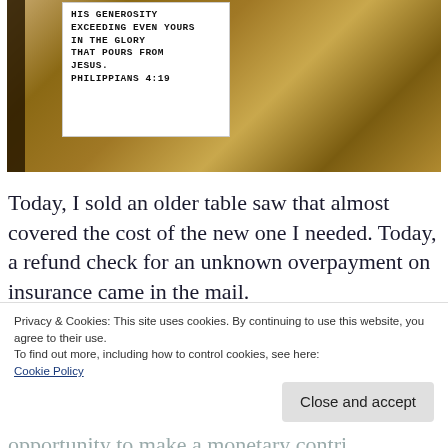[Figure (photo): A photo of a worn wooden surface with a handwritten note card attached, reading: 'HIS GENEROSITY EXCEEDING EVEN YOURS IN THE GLORY THAT POURS FROM JESUS. PHILIPPIANS 4:19']
Today, I sold an older table saw that almost covered the cost of the new one I needed. Today, a refund check for an unknown overpayment on insurance came in the mail.
Privacy & Cookies: This site uses cookies. By continuing to use this website, you agree to their use.
To find out more, including how to control cookies, see here:
Cookie Policy
Close and accept